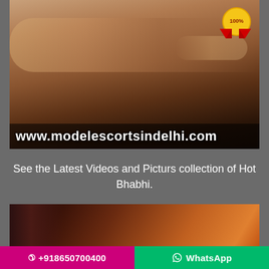[Figure (photo): A massage service advertisement photo showing a person receiving a massage, with a 100% quality badge in the top right corner, and the website URL www.modelescortsindelhi.com displayed at the bottom of the image]
See the Latest Videos and Picturs collection of Hot Bhabhi.
[Figure (photo): A dinner date advertisement image showing a woman at a restaurant with warm ambient lighting, with the text 'Special Dinner Date' overlaid]
+918650700400   WhatsApp